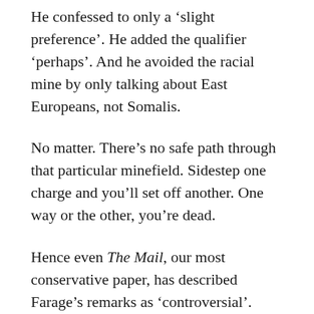He confessed to only a 'slight preference'. He added the qualifier 'perhaps'. And he avoided the racial mine by only talking about East Europeans, not Somalis.
No matter. There's no safe path through that particular minefield. Sidestep one charge and you'll set off another. One way or the other, you're dead.
Hence even The Mail, our most conservative paper, has described Farage's remarks as 'controversial'. Since, for purely medical reasons, I can't read The Guardian or The Independent, I don't know what adjectives they used, but one can guess.